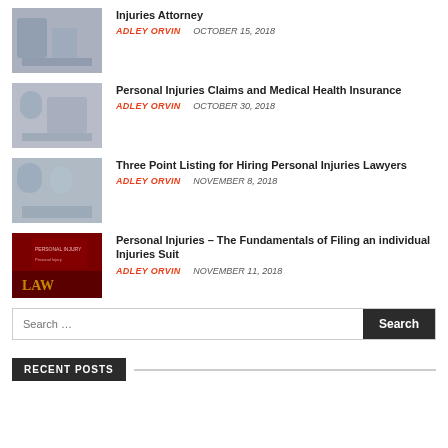[Figure (photo): People at a desk, lawyer meeting scene]
Injuries Attorney
ADLEY ORVIN   OCTOBER 15, 2018
[Figure (photo): Person consulting with professional, medical/legal context]
Personal Injuries Claims and Medical Health Insurance
ADLEY ORVIN   OCTOBER 30, 2018
[Figure (photo): Two men consulting, one older, personal injury lawyer scene]
Three Point Listing for Hiring Personal Injuries Lawyers
ADLEY ORVIN   NOVEMBER 8, 2018
[Figure (photo): Law book, gavel, personal injury legal documents]
Personal Injuries – The Fundamentals of Filing an individual Injuries Suit
ADLEY ORVIN   NOVEMBER 11, 2018
Search ...
RECENT POSTS